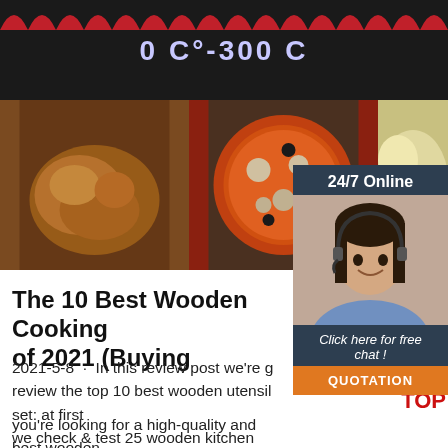[Figure (photo): Top dark banner with temperature text '0 C°-300 C' and red scalloped decoration at top]
[Figure (photo): Row of three food photos: roasted chicken, mushroom pizza, and a creamy dish]
[Figure (other): Sidebar with '24/7 Online', customer service woman with headset, 'Click here for free chat!' text, and orange QUOTATION button]
The 10 Best Wooden Cooking of 2021 (Buying
2021-5-8 · In this review post we're g review the top 10 best wooden utensil set: at first we check & test 25 wooden kitchen utensils set, and the we pick the best 10 products.So, if you're looking for a high-quality and best wooden kitchen utensils set or Best Wooden Spoons